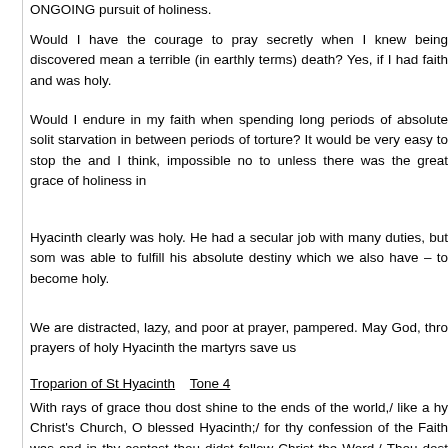ONGOING pursuit of holiness.
Would I have the courage to pray secretly when I knew being discovered mean a terrible (in earthly terms) death? Yes, if I had faith and was holy.
Would I endure in my faith when spending long periods of absolute solitude, starvation in between periods of torture? It would be very easy to stop the and I think, impossible no to unless there was the great grace of holiness in
Hyacinth clearly was holy. He had a secular job with many duties, but som was able to fulfill his absolute destiny which we also have – to become holy.
We are distracted, lazy, and poor at prayer, pampered. May God, thro prayers of holy Hyacinth the martyrs save us
Troparion of St Hyacinth    Tone 4
With rays of grace thou dost shine to the ends of the world,/ like a hy Christ's Church, O blessed Hyacinth;/ for thy confession of the Faith was and in thy contest thou didst follow Christ the Word./ Thou dost ever illumi who honour thee.